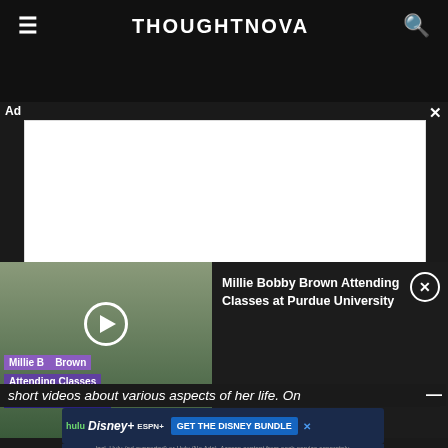THOUGHTNOVA
[Figure (screenshot): Ad banner placeholder (white rectangle)]
Ad
[Figure (screenshot): Video thumbnail: Millie Bobby Brown Attending Classes at Purdue University with play button overlay]
Millie Bobby Brown Attending Classes at Purdue University
short videos about various aspects of her life. On
[Figure (screenshot): Disney Bundle advertisement: hulu Disney+ ESPN+ GET THE DISNEY BUNDLE. Incl. Hulu (ad-supported) or Hulu (No Ads). Access content from each service separately. ©2021 Disney and its related entities.]